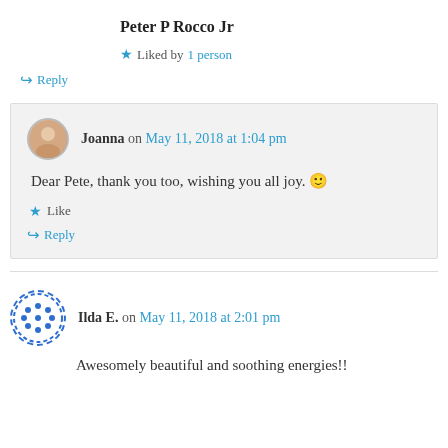Peter P Rocco Jr
★ Liked by 1 person
↪ Reply
Joanna on May 11, 2018 at 1:04 pm
Dear Pete, thank you too, wishing you all joy. 🙂
★ Like
↪ Reply
Ilda E. on May 11, 2018 at 2:01 pm
Awesomely beautiful and soothing energies!!